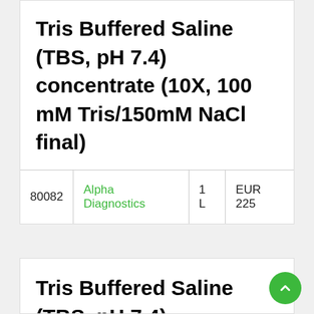Tris Buffered Saline (TBS, pH 7.4) concentrate (10X, 100 mM Tris/150mM NaCl final)
|  |  |  |  |
| --- | --- | --- | --- |
| 80082 | Alpha Diagnostics | 1 L | EUR 225 |
Tris Buffered Saline (TBS, pH 7.4) concentrate (10X,